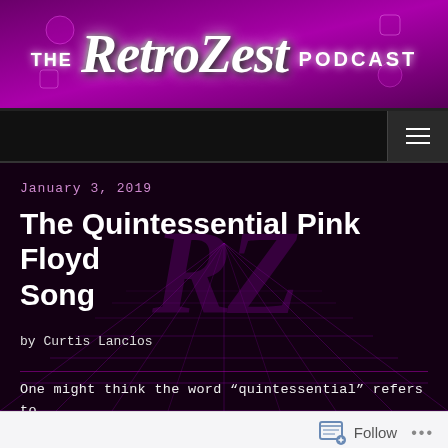[Figure (logo): The RetroZest Podcast banner logo with white italic text on purple gradient background with retro decorative icons]
Navigation bar with hamburger menu icon
January 3, 2019
The Quintessential Pink Floyd Song
by Curtis Lanclos
One might think the word “quintessential” refers to something the shark hunter in the 1975 movie Jaws considers to be an absolute necessity on his boat;
Follow ...